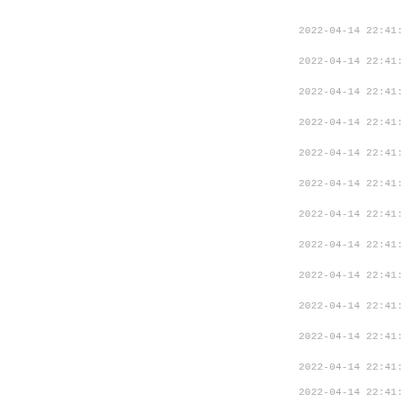2022-04-14 22:41:
2022-04-14 22:41:
2022-04-14 22:41:
2022-04-14 22:41:
2022-04-14 22:41:
2022-04-14 22:41:
2022-04-14 22:41:
2022-04-14 22:41:
2022-04-14 22:41:
2022-04-14 22:41:
2022-04-14 22:41:
2022-04-14 22:41:
2022-04-14 22:41: